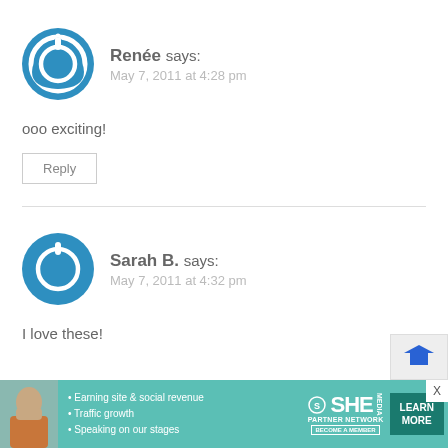[Figure (illustration): Blue circular power/avatar icon for Renée]
Renée says:
May 7, 2011 at 4:28 pm
ooo exciting!
Reply
[Figure (illustration): Blue circular power/avatar icon for Sarah B.]
Sarah B. says:
May 7, 2011 at 4:32 pm
I love these!
[Figure (infographic): SHE Partner Network advertisement banner with woman photo, bullet points: Earning site & social revenue, Traffic growth, Speaking on our stages. LEARN MORE button.]